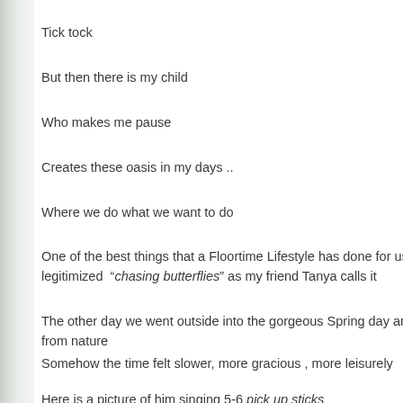Tick tock
But then there is my child
Who makes me pause
Creates these oasis in my days ..
Where we do what we want to do
One of the best things that a Floortime Lifestyle has done for us legitimized “chasing butterflies” as my friend Tanya calls it
The other day we went outside into the gorgeous Spring day and from nature
Somehow the time felt slower, more gracious , more leisurely
Here is a picture of him singing 5-6 pick up sticks